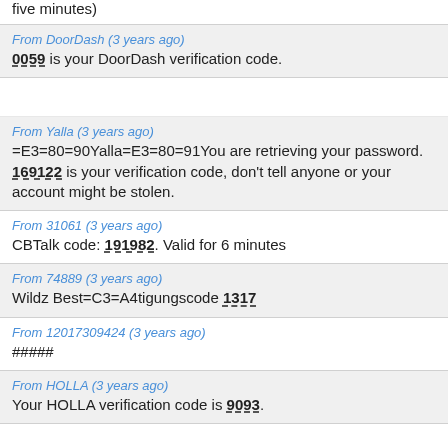five minutes)
From DoorDash (3 years ago)
0059 is your DoorDash verification code.
From Yalla (3 years ago)
=E3=80=90Yalla=E3=80=91You are retrieving your password. 169122 is your verification code, don't tell anyone or your account might be stolen.
From 31061 (3 years ago)
CBTalk code: 191982. Valid for 6 minutes
From 74889 (3 years ago)
Wildz Best=C3=A4tigungscode 1317
From 12017309424 (3 years ago)
#####
From HOLLA (3 years ago)
Your HOLLA verification code is 9093.